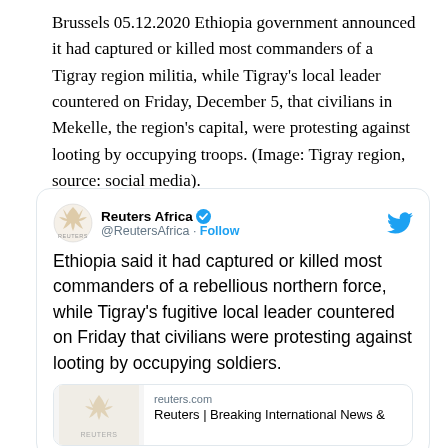Brussels 05.12.2020 Ethiopia government announced it had captured or killed most commanders of a Tigray region militia, while Tigray's local leader countered on Friday, December 5, that civilians in Mekelle, the region's capital, were protesting against looting by occupying troops. (Image: Tigray region, source: social media).
[Figure (screenshot): A tweet from Reuters Africa (@ReutersAfrica) with verified badge, with Follow button, Twitter bird logo. Tweet text: 'Ethiopia said it had captured or killed most commanders of a rebellious northern force, while Tigray's fugitive local leader countered on Friday that civilians were protesting against looting by occupying soldiers.' Below the tweet is a link preview showing reuters.com with text 'Reuters | Breaking International News &']